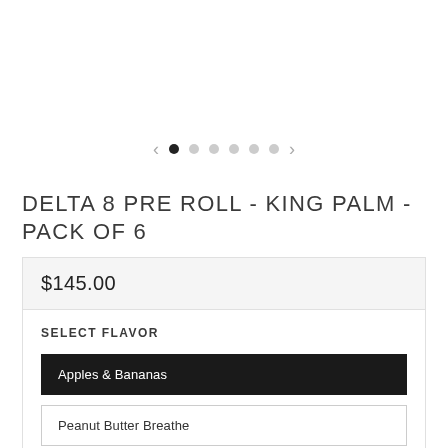[Figure (other): Product image carousel navigation with left/right arrows and 6 dots (first dot active/dark, rest light gray)]
DELTA 8 PRE ROLL - KING PALM - PACK OF 6
$145.00
SELECT FLAVOR
Apples & Bananas (selected)
Peanut Butter Breathe
Lemon Bonkers
Durban Poison